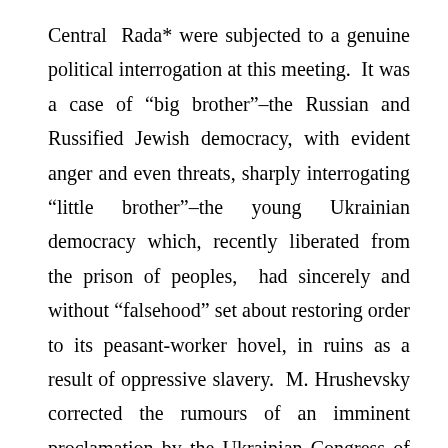Central Rada* were subjected to a genuine political interrogation at this meeting. It was a case of “big brother”–the Russian and Russified Jewish democracy, with evident anger and even threats, sharply interrogating “little brother”–the young Ukrainian democracy which, recently liberated from the prison of peoples, had sincerely and without “falsehood” set about restoring order to its peasant-worker hovel, in ruins as a result of oppressive slavery. M. Hrushevsky corrected the rumours of an imminent proclamation by the Ukrainian Congress of Ukraine’s secession from Russia. He indignantly protested the threats made by the reigning democrats to Ukrainian